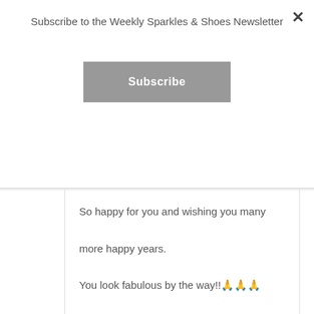Subscribe to the Weekly Sparkles & Shoes Newsletter
Subscribe
So happy for you and wishing you many more happy years.

You look fabulous by the way!!🙏🙏🙏
[Figure (photo): Black and white circular profile photo of a woman, partially visible at the bottom of the page]